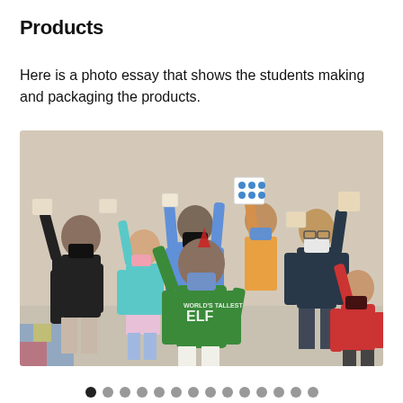Products
Here is a photo essay that shows the students making and packaging the products.
[Figure (photo): Group of elementary school students wearing face masks holding up products they made, posing in a classroom hallway. One student in the center wears a green sweatshirt that reads "WORLD'S TALLEST ELF". All students have their arms raised showing their packaged products.]